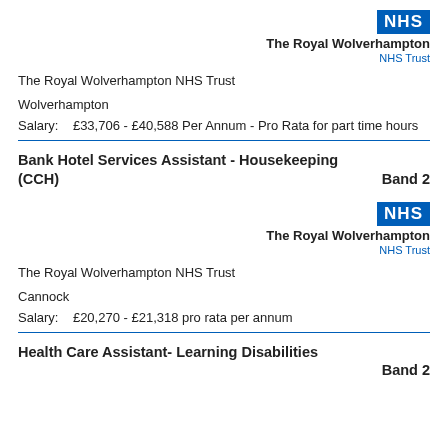[Figure (logo): NHS logo with text 'The Royal Wolverhampton NHS Trust']
The Royal Wolverhampton NHS Trust
Wolverhampton
Salary:   £33,706 - £40,588 Per Annum - Pro Rata for part time hours
Bank Hotel Services Assistant - Housekeeping (CCH)     Band 2
[Figure (logo): NHS logo with text 'The Royal Wolverhampton NHS Trust']
The Royal Wolverhampton NHS Trust
Cannock
Salary:   £20,270 - £21,318 pro rata per annum
Health Care Assistant- Learning Disabilities     Band 2